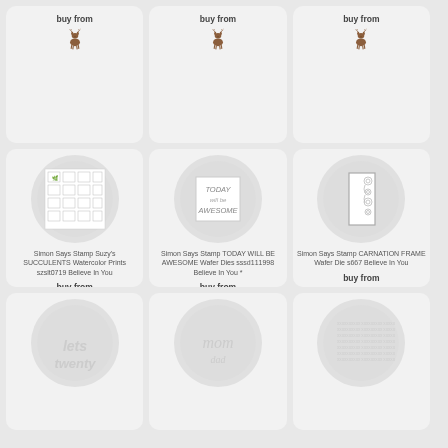buy from
[Figure (illustration): Brown deer/reindeer logo icon for Simon Says Stamp]
buy from
[Figure (illustration): Brown deer/reindeer logo icon for Simon Says Stamp]
buy from
[Figure (illustration): Brown deer/reindeer logo icon for Simon Says Stamp]
[Figure (illustration): Circle with stamp sheet showing succulents watercolor prints]
Simon Says Stamp Suzy's SUCCULENTS Watercolor Prints szslt0719 Believe In You
buy from
[Figure (illustration): Brown deer/reindeer logo icon]
[Figure (illustration): Circle with 'TODAY will be AWESOME' stamp card]
Simon Says Stamp TODAY WILL BE AWESOME Wafer Dies sssd111998 Believe In You *
buy from
[Figure (illustration): Brown deer/reindeer logo icon]
[Figure (illustration): Circle with carnation frame die cut]
Simon Says Stamp CARNATION FRAME Wafer Die s667 Believe In You
buy from
[Figure (illustration): Brown deer/reindeer logo icon]
[Figure (illustration): Partial circle showing 'lets twenty' text die cut]
[Figure (illustration): Partial circle showing 'mom' script die cut]
[Figure (illustration): Partial circle showing text stamp sheet]